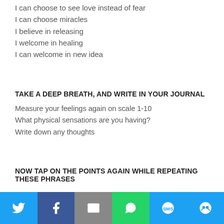I can choose to see love instead of fear
I can choose miracles
I believe in releasing
I welcome in healing
I can welcome in new idea
TAKE A DEEP BREATH, AND WRITE IN YOUR JOURNAL
Measure your feelings again on scale 1-10
What physical sensations are you having?
Write down any thoughts
NOW TAP ON THE POINTS AGAIN WHILE REPEATING THESE PHRASES